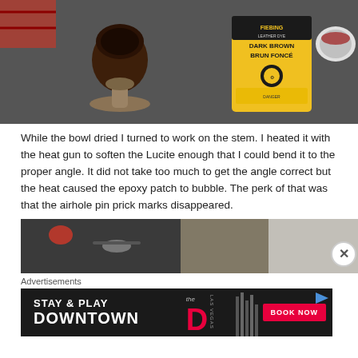[Figure (photo): Photo showing a pipe bowl on a stand next to a yellow can of Fiebing's Leather Dye Dark Brown / Brun Fonce, with a container lid visible at right.]
While the bowl dried I turned to work on the stem. I heated it with the heat gun to soften the Lucite enough that I could bend it to the proper angle. It did not take too much to get the angle correct but the heat caused the epoxy patch to bubble. The perk of that was that the airhole pin prick marks disappeared.
[Figure (photo): Partial photo showing workshop tools and materials on a surface.]
Advertisements
[Figure (other): Advertisement banner: STAY & PLAY DOWNTOWN with The D Las Vegas logo and BOOK NOW button.]